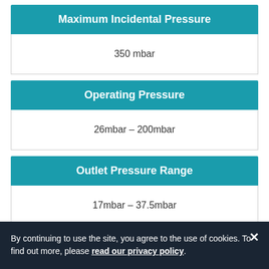Maximum Incidental Pressure
350 mbar
Operating Pressure
26mbar – 200mbar
Outlet Pressure Range
17mbar – 37.5mbar
Operating Temperature
By continuing to use the site, you agree to the use of cookies. To find out more, please read our privacy policy.